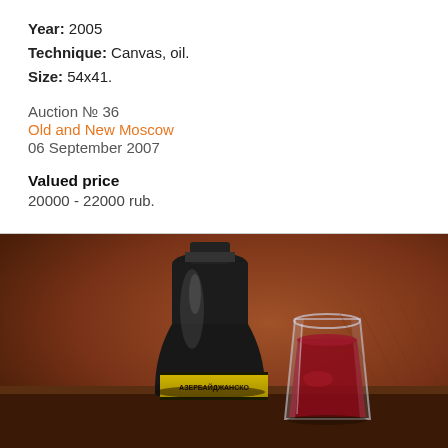Year: 2005
Technique: Canvas, oil.
Size: 54x41.
Auction № 36
Old and New Moscow
06 September 2007
Valued price
20000 - 22000 rub.
[Figure (photo): Oil painting on canvas showing a dark wine bottle with a yellow label reading 'АЗЕРБАЙДЖАНСКО' next to a glass tumbler filled with dark red liquid, set on a wooden surface with a warm brown background.]